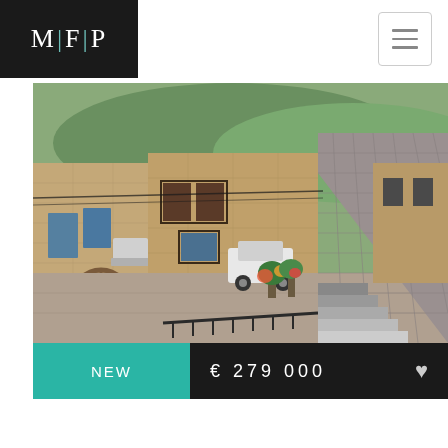[Figure (logo): MFP real estate logo — white letters M|F|P on black background with teal pipe separators]
[Figure (photo): Photograph of a Mediterranean village street scene with stone buildings, tiled roofs, a white car, and potted plants]
NEW
€ 279 000